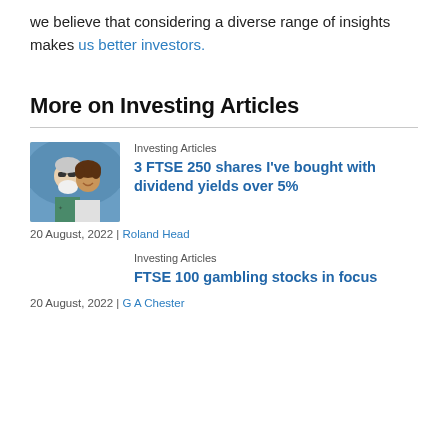we believe that considering a diverse range of insights makes us better investors.
More on Investing Articles
[Figure (photo): Photo of two people smiling, used as article thumbnail]
Investing Articles
3 FTSE 250 shares I've bought with dividend yields over 5%
20 August, 2022 | Roland Head
Investing Articles
FTSE 100 gambling stocks in focus
20 August, 2022 | G A Chester